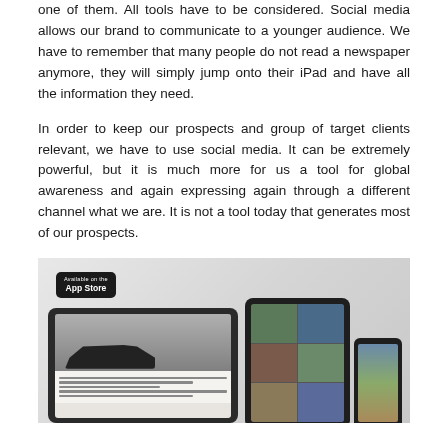one of them. All tools have to be considered. Social media allows our brand to communicate to a younger audience. We have to remember that many people do not read a newspaper anymore, they will simply jump onto their iPad and have all the information they need.
In order to keep our prospects and group of target clients relevant, we have to use social media. It can be extremely powerful, but it is much more for us a tool for global awareness and again expressing again through a different channel what we are. It is not a tool today that generates most of our prospects.
[Figure (photo): Photo showing multiple Apple devices (iPads and iPhone) displaying what appears to be a Bentley Supersports automotive website/app content, with an App Store badge visible in the upper left corner of the image.]